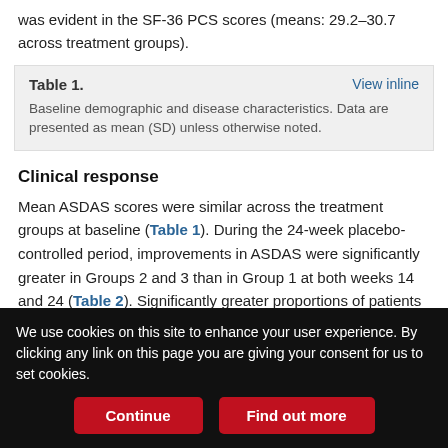was evident in the SF-36 PCS scores (means: 29.2–30.7 across treatment groups).
Table 1. Baseline demographic and disease characteristics. Data are presented as mean (SD) unless otherwise noted.
Clinical response
Mean ASDAS scores were similar across the treatment groups at baseline (Table 1). During the 24-week placebo-controlled period, improvements in ASDAS were significantly greater in Groups 2 and 3 than in Group 1 at both weeks 14 and 24 (Table 2). Significantly greater proportions of patients in Groups 2 and 3 achieved ASDAS
We use cookies on this site to enhance your user experience. By clicking any link on this page you are giving your consent for us to set cookies.